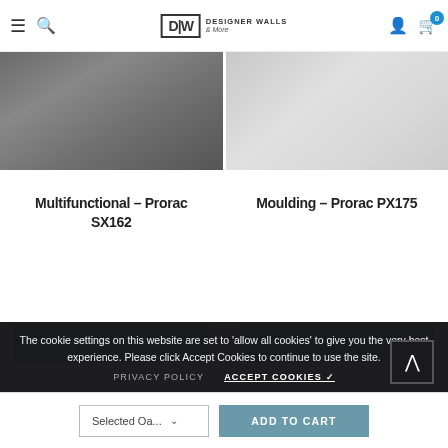Designer Walls & More
[Figure (photo): Left product photo: dining room table with white tablecloth and chairs]
[Figure (photo): Right product photo: kitchen countertop with pink flowers]
Multifunctional - Prorac SX162
PRICE ON APPLICATI...
Moulding - Prorac PX175
PRICE ON APPLICATI...
The cookie settings on this website are set to 'allow all cookies' to give you the very best experience. Please click Accept Cookies to continue to use the site.
PRIVACY POLICY
ACCEPT COOKIES ✓
Selected Oa...
ADD TO CART